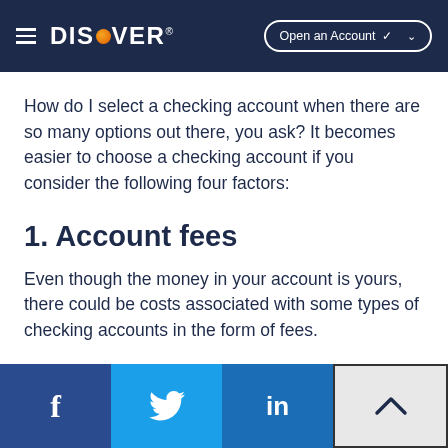DISCOVER | Open an Account
How do I select a checking account when there are so many options out there, you ask? It becomes easier to choose a checking account if you consider the following four factors:
1. Account fees
Even though the money in your account is yours, there could be costs associated with some types of checking accounts in the form of fees.
f | Twitter | in | Up arrow